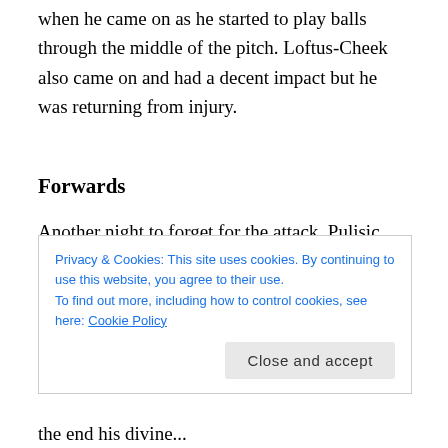when he came on as he started to play balls through the middle of the pitch. Loftus-Cheek also came on and had a decent impact but he was returning from injury.
Forwards
Another night to forget for the attack. Pulisic was good in the first half but playing as an attacking midfielder he didn't enjoy the same freedom he would have on the wing. Havertz did a good job overall as he worked hard off the ball and was phviscal in his challenged. Lukaku
Privacy & Cookies: This site uses cookies. By continuing to use this website, you agree to their use.
To find out more, including how to control cookies, see here: Cookie Policy
Close and accept
the end his divine...